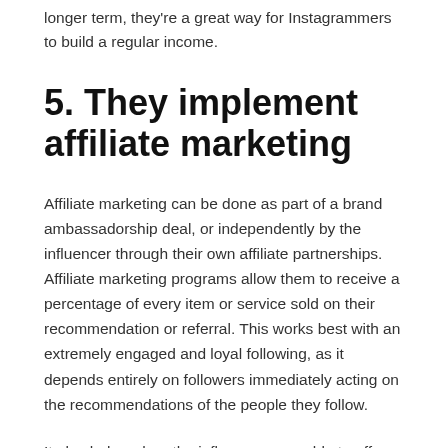longer term, they're a great way for Instagrammers to build a regular income.
5. They implement affiliate marketing
Affiliate marketing can be done as part of a brand ambassadorship deal, or independently by the influencer through their own affiliate partnerships. Affiliate marketing programs allow them to receive a percentage of every item or service sold on their recommendation or referral. This works best with an extremely engaged and loyal following, as it depends entirely on followers immediately acting on the recommendations of the people they follow.
It also helps when the influencers are able to offer